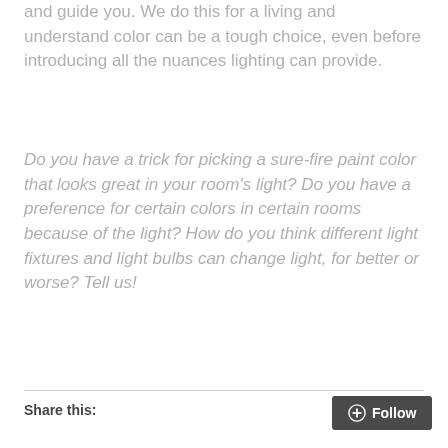and guide you. We do this for a living and understand color can be a tough choice, even before introducing all the nuances lighting can provide.
Do you have a trick for picking a sure-fire paint color that looks great in your room's light? Do you have a preference for certain colors in certain rooms because of the light? How do you think different light fixtures and light bulbs can change light, for better or worse? Tell us!
Share this: